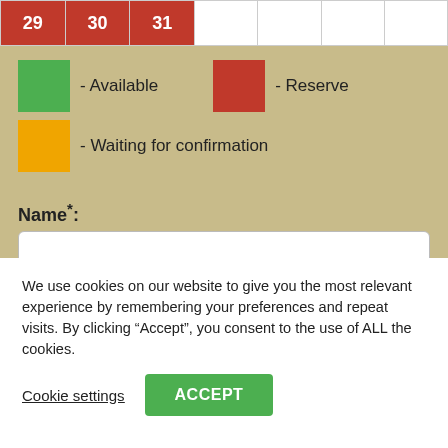[Figure (other): Calendar row showing dates 29, 30, 31 in red cells followed by empty white cells]
- Available
- Reserve
- Waiting for confirmation
Name*:
First name*:
We use cookies on our website to give you the most relevant experience by remembering your preferences and repeat visits. By clicking “Accept”, you consent to the use of ALL the cookies.
Cookie settings
ACCEPT